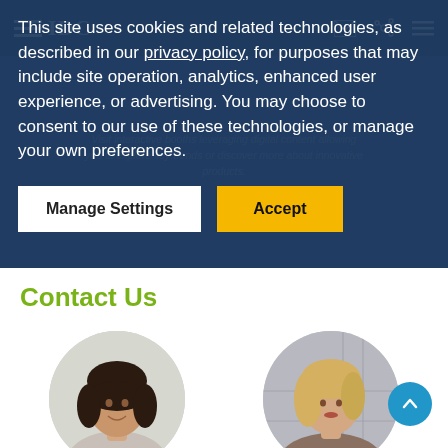[Figure (screenshot): IDC website screenshot showing cookie consent overlay over a page with 'Contact Us' section. The overlay has text about cookies and two buttons: 'Manage Settings' and 'Accept'. Below is the Contact Us heading in green and two circular portrait photos.]
This site uses cookies and related technologies, as described in our privacy policy, for purposes that may include site operation, analytics, enhanced user experience, or advertising. You may choose to consent to our use of these technologies, or manage your own preferences.
Manage Settings
Accept
Contact Us